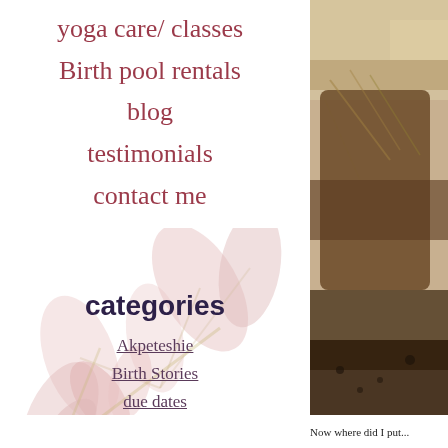yoga care/ classes
Birth pool rentals
blog
testimonials
contact me
[Figure (illustration): Decorative pink leaf/floral pattern in background of left column]
categories
Akpeteshie
Birth Stories
due dates
Funny Stories
Ina May Gaskin
[Figure (photo): Outdoor photo of dry cracked earth, grass, and soil texture]
Now where did I put...